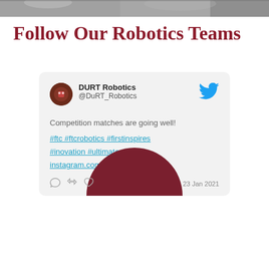[Figure (photo): Partial photo strip at the top of the page showing people, cropped]
Follow Our Robotics Teams
[Figure (screenshot): Twitter/social media card for DURT Robotics (@DuRT_Robotics) with tweet: 'Competition matches are going well! #ftc #ftcrobotics #firstinspires #inovation #ultimategoal instagram.com/p/CKZiSSPh6sD/…' dated 23 Jan 2021, with Twitter bird icon, avatar, comment/retweet icons, and a maroon semicircle overlay at bottom]